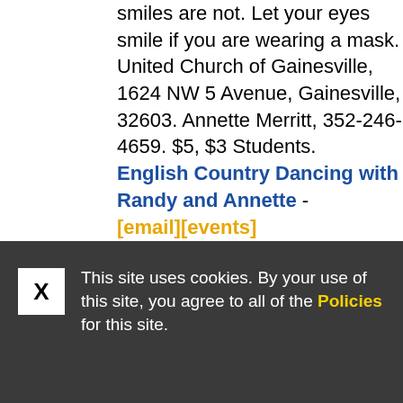smiles are not. Let your eyes smile if you are wearing a mask. United Church of Gainesville, 1624 NW 5 Avenue, Gainesville, 32603. Annette Merritt, 352-246-4659. $5, $3 Students. English Country Dancing with Randy and Annette - [email][events]
This site uses cookies. By your use of this site, you agree to all of the Policies for this site.